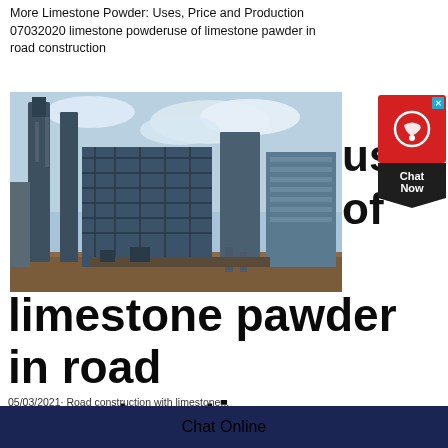More Limestone Powder: Uses, Price and Production 07032020 limestone powderuse of limestone pawder in road construction
[Figure (photo): Industrial facility showing large steel structures, conveyor systems, and processing towers against a partly cloudy sky. Appears to be a limestone or mineral processing plant.]
use of
limestone pawder in road construction
05/03/2021· Road construction with limestone...
Chat Online